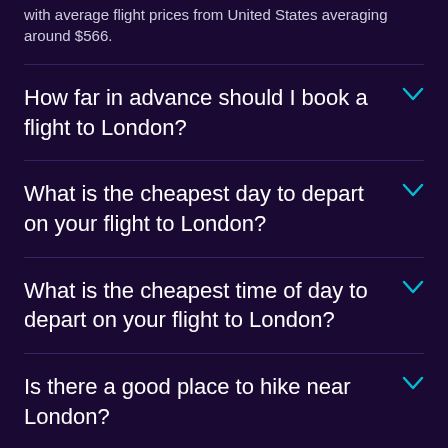with average flight prices from United States averaging around $566.
How far in advance should I book a flight to London?
What is the cheapest day to depart on your flight to London?
What is the cheapest time of day to depart on your flight to London?
Is there a good place to hike near London?
Is there an alternative airport near London?
Is there a cheaper alternative to flying